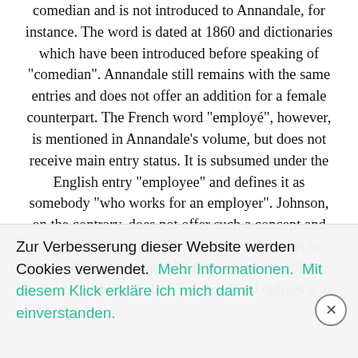comedian and is not introduced to Annandale, for instance. The word is dated at 1860 and dictionaries which have been introduced before speaking of "comedian". Annandale still remains with the same entries and does not offer an addition for a female counterpart. The French word "employé", however, is mentioned in Annandale's volume, but does not receive main entry status. It is subsumed under the English entry "employee" and defines it as somebody "who works for an employer". Johnson, on the contrary, does not offer such a concept and only lists "employer" as "one who sets others to work". Richardson joins the French verb "employer" to the English equivalent "employ" and defines it as
Zur Verbesserung dieser Website werden Cookies verwendet. Mehr Informationen. Mit diesem Klick erkläre ich mich damit einverstanden.
the other side... example of a difficu